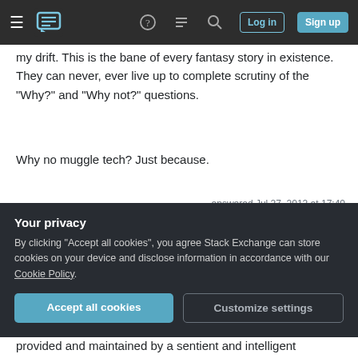Stack Exchange navigation bar with hamburger menu, logo, help, chat, search icons, Log in and Sign up buttons
my drift. This is the bane of every fantasy story in existence. They can never, ever live up to complete scrutiny of the "Why?" and "Why not?" questions.
Why no muggle tech? Just because.
Share | Improve this answer | Follow
answered Jul 27, 2012 at 17:40
martin
311 ◆3 ◆2
5  I could also imagine, in this case, an intense biological
Your privacy
By clicking "Accept all cookies", you agree Stack Exchange can store cookies on your device and disclose information in accordance with our Cookie Policy.
Accept all cookies   Customize settings
provided and maintained by a sentient and intelligent